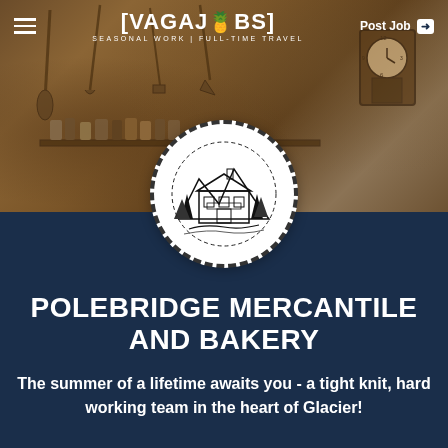[Figure (screenshot): Website header banner showing a rustic barn/workshop interior with vintage tools, cans, and a clock on the wall. Background image for Vagajobs website.]
[VAGAJOBS] SEASONAL WORK | FULL-TIME TRAVEL  Post Job
[Figure (logo): Circular logo with dashed border containing a black and white illustration of the Polebridge Mercantile building surrounded by trees and mountains]
POLEBRIDGE MERCANTILE AND BAKERY
The summer of a lifetime awaits you - a tight knit, hard working team in the heart of Glacier!